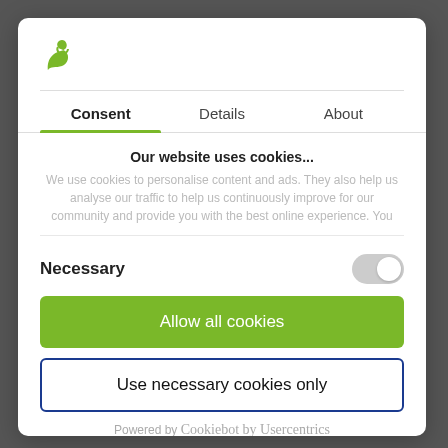[Figure (logo): Green swan logo icon]
Consent | Details | About
Our website uses cookies...
We use cookies to personalise content and ads. They also help us analyse our traffic to help us continuously improve for our community and provide you with the best online experience. You
Necessary
Allow all cookies
Use necessary cookies only
Powered by Cookiebot by Usercentrics